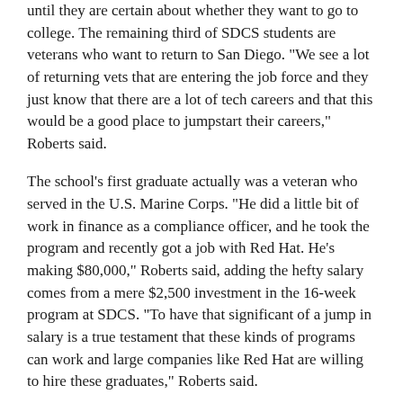until they are certain about whether they want to go to college. The remaining third of SDCS students are veterans who want to return to San Diego. "We see a lot of returning vets that are entering the job force and they just know that there are a lot of tech careers and that this would be a good place to jumpstart their careers," Roberts said.
The school's first graduate actually was a veteran who served in the U.S. Marine Corps. "He did a little bit of work in finance as a compliance officer, and he took the program and recently got a job with Red Hat. He's making $80,000," Roberts said, adding the hefty salary comes from a mere $2,500 investment in the 16-week program at SDCS. "To have that significant of a jump in salary is a true testament that these kinds of programs can work and large companies like Red Hat are willing to hire these graduates," Roberts said.